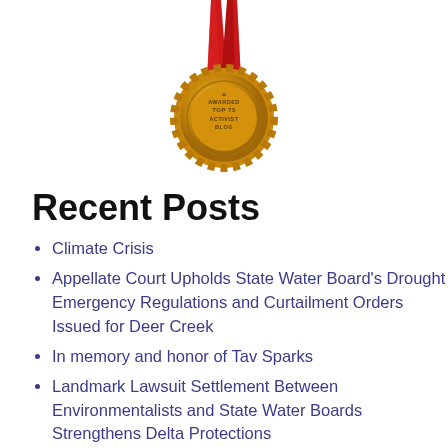[Figure (illustration): Gold award medal with red ribbon reading 'Awarded Top 75 Activist Blog']
Recent Posts
Climate Crisis
Appellate Court Upholds State Water Board's Drought Emergency Regulations and Curtailment Orders Issued for Deer Creek
In memory and honor of Tav Sparks
Landmark Lawsuit Settlement Between Environmentalists and State Water Boards Strengthens Delta Protections
Sorax, The Ghost of Coho Salmon Past, Addresses The Sonoma County Board of Supervisors By Brock Dolman